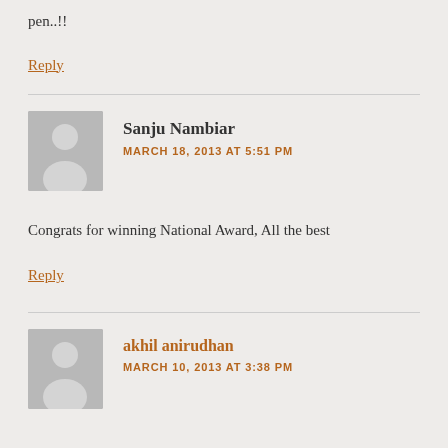pen..!!
Reply
[Figure (illustration): Generic user avatar (grey silhouette of a person)]
Sanju Nambiar
MARCH 18, 2013 AT 5:51 PM
Congrats for winning National Award, All the best
Reply
[Figure (illustration): Generic user avatar (grey silhouette of a person)]
akhil anirudhan
MARCH 10, 2013 AT 3:38 PM